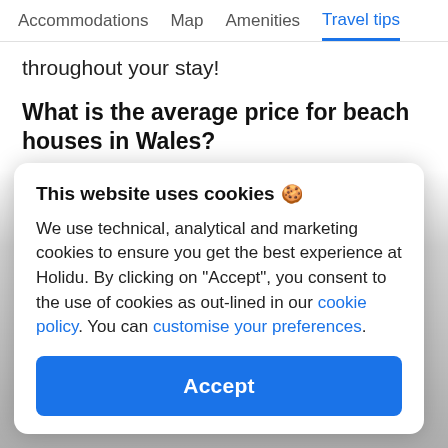Accommodations  Map  Amenities  Travel tips
throughout your stay!
What is the average price for beach houses in Wales?
This website uses cookies 🍪
We use technical, analytical and marketing cookies to ensure you get the best experience at Holidu. By clicking on "Accept", you consent to the use of cookies as out-lined in our cookie policy. You can customise your preferences.
Accept